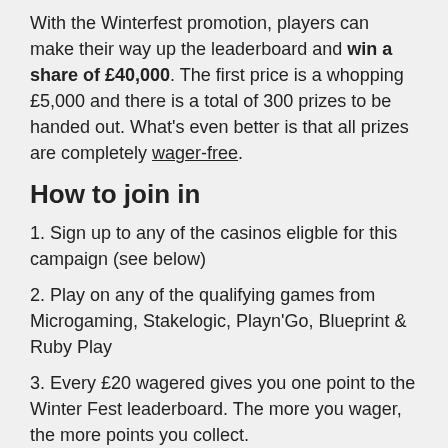With the Winterfest promotion, players can make their way up the leaderboard and win a share of £40,000. The first price is a whopping £5,000 and there is a total of 300 prizes to be handed out. What's even better is that all prizes are completely wager-free.
How to join in
1. Sign up to any of the casinos eligble for this campaign (see below)
2. Play on any of the qualifying games from Microgaming, Stakelogic, Playn'Go, Blueprint & Ruby Play
3. Every £20 wagered gives you one point to the Winter Fest leaderboard. The more you wager, the more points you collect.
4. A £40,000 prize pool is shared to the 300 players with the most points across the campaign. The first price is £5,000 and all prizes are wager-free.